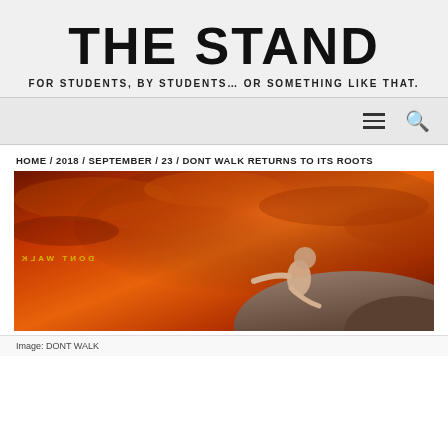THE STAND
FOR STUDENTS, BY STUDENTS… OR SOMETHING LIKE THAT.
HOME / 2018 / SEPTEMBER / 23 / DONT WALK RETURNS TO ITS ROOTS
[Figure (photo): Promotional image for DONT WALK event showing a person climbing a rock against a dramatic red-orange sunset sky, with 'DONT WALK' text in gold letters]
Image: DONT WALK